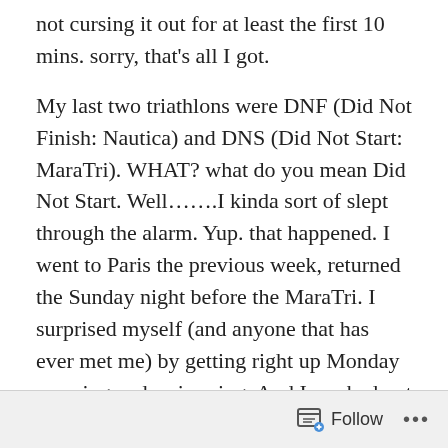not cursing it out for at least the first 10 mins. sorry, that's all I got.

My last two triathlons were DNF (Did Not Finish: Nautica) and DNS (Did Not Start: MaraTri). WHAT? what do you mean Did Not Start. Well…….I kinda sort of slept through the alarm. Yup. that happened. I went to Paris the previous week, returned the Sunday night before the MaraTri. I surprised myself (and anyone that has ever met me) by getting right up Monday morning and swimming. And I worked out all week. Friday before the race was a rest day but I had a lot to do. I was hosting a baby shower at my house after the Tri for a very good friend. Because I'm a moron, I didn't realize that I had planned it the same day as the Tri, so I had to get everything ready Friday. OK, no
Follow ···